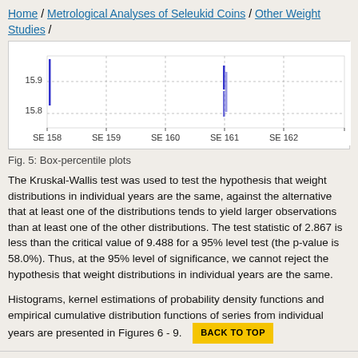Home / Metrological Analyses of Seleukid Coins / Other Weight Studies /
[Figure (continuous-plot): Box-percentile plots showing data points for SE 158 through SE 162, y-axis ranging from 15.8 to 15.9. Blue vertical marks appear near SE 158 and SE 161.]
Fig. 5: Box-percentile plots
The Kruskal-Wallis test was used to test the hypothesis that weight distributions in individual years are the same, against the alternative that at least one of the distributions tends to yield larger observations than at least one of the other distributions. The test statistic of 2.867 is less than the critical value of 9.488 for a 95% level test (the p-value is 58.0%). Thus, at the 95% level of significance, we cannot reject the hypothesis that weight distributions in individual years are the same.
Histograms, kernel estimations of probability density functions and empirical cumulative distribution functions of series from individual years are presented in Figures 6 - 9.
Note: The bandwidth of the Gaussian kernel was computed as hGauss = 0.9 × min(σ,